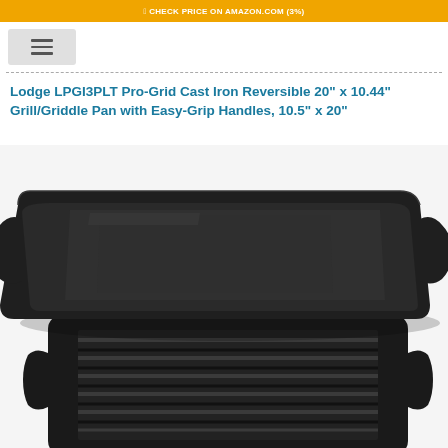CHECK PRICE ON AMAZON.COM (3%)
Lodge LPGI3PLT Pro-Grid Cast Iron Reversible 20" x 10.44" Grill/Griddle Pan with Easy-Grip Handles, 10.5" x 20"
[Figure (photo): Two Lodge cast iron reversible grill/griddle pans stacked at an angle showing both sides: top pan shows smooth flat griddle surface, bottom pan shows ribbed grill surface, both with easy-grip handles on sides, dark black cast iron color]